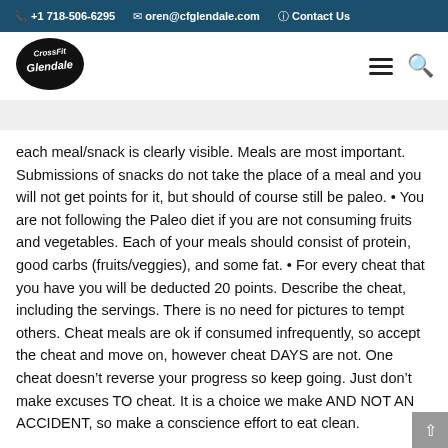+1 718-506-6295  oren@cfglendale.com  Contact Us
[Figure (logo): CrossFit Glendale logo in black script lettering on white background]
each meal/snack is clearly visible. Meals are most important. Submissions of snacks do not take the place of a meal and you will not get points for it, but should of course still be paleo. • You are not following the Paleo diet if you are not consuming fruits and vegetables. Each of your meals should consist of protein, good carbs (fruits/veggies), and some fat. • For every cheat that you have you will be deducted 20 points. Describe the cheat, including the servings. There is no need for pictures to tempt others. Cheat meals are ok if consumed infrequently, so accept the cheat and move on, however cheat DAYS are not. One cheat doesn't reverse your progress so keep going. Just don't make excuses TO cheat. It is a choice we make AND NOT AN ACCIDENT, so make a conscience effort to eat clean.